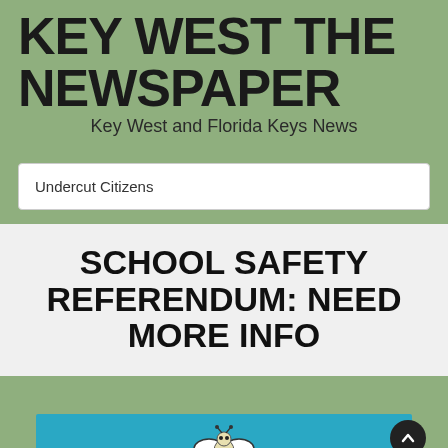KEY WEST THE NEWSPAPER
Key West and Florida Keys News
Undercut Citizens
SCHOOL SAFETY REFERENDUM: NEED MORE INFO
[Figure (illustration): Bee or insect illustration on teal background at bottom of page]